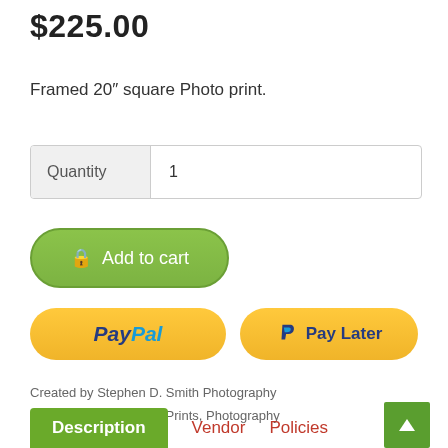$225.00
Framed 20″ square Photo print.
Quantity  1
Add to cart
[Figure (screenshot): PayPal payment button (gold/yellow pill shape) with PayPal logo in blue italic text]
[Figure (screenshot): Pay Later payment button (gold/yellow pill shape) with PayPal P logo and 'Pay Later' text in dark blue]
Created by Stephen D. Smith Photography
2-Dimensional, 2D Prints, Photography
Description
Vendor
Policies